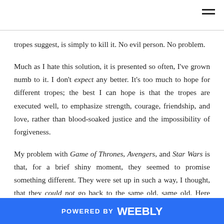tropes suggest, is simply to kill it. No evil person. No problem.
Much as I hate this solution, it is presented so often, I've grown numb to it. I don't expect any better. It's too much to hope for different tropes; the best I can hope is that the tropes are executed well, to emphasize strength, courage, friendship, and love, rather than blood-soaked justice and the impossibility of forgiveness.
My problem with Game of Thrones, Avengers, and Star Wars is that, for a brief shiny moment, they seemed to promise something different. They were set up in such a way, I thought, that they could not go back to the same old, same old. Heroes were nurtured and we brutally...
POWERED BY weebly